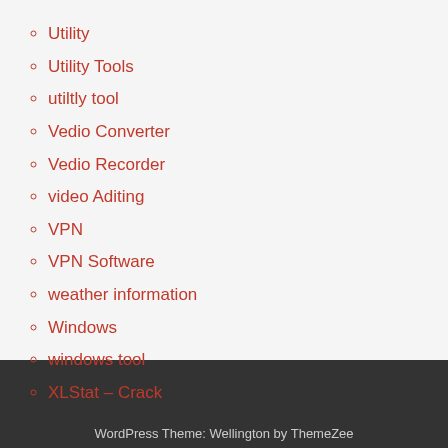Utility
Utility Tools
utiltly tool
Vedio Converter
Vedio Recorder
video Aditing
VPN
VPN Software
weather information
Windows
windows tool
XLStat – Crack
WordPress Theme: Wellington by ThemeZee